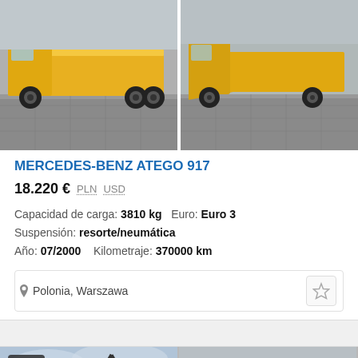[Figure (photo): Two yellow Mercedes-Benz Atego trucks with flatbed/car-carrier bodies photographed in a parking area]
MERCEDES-BENZ ATEGO 917
18.220 €  PLN  USD
Capacidad de carga: 3810 kg   Euro: Euro 3
Suspensión: resorte/neumática
Año: 07/2000   Kilometraje: 370000 km
Polonia, Warszawa
[Figure (photo): Bottom left: crane/boom truck against sky background with photo badge '15'. Bottom right: large yellow heavy truck in front of industrial building.]